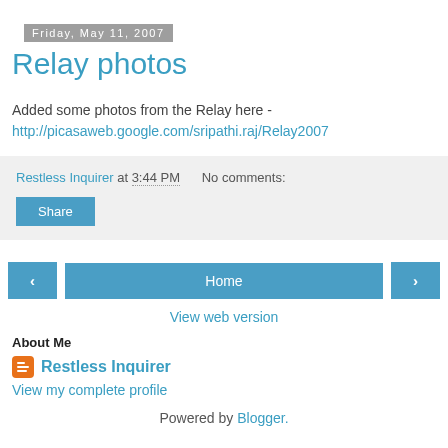Friday, May 11, 2007
Relay photos
Added some photos from the Relay here - http://picasaweb.google.com/sripathi.raj/Relay2007
Restless Inquirer at 3:44 PM   No comments:
Share
Home
View web version
About Me
Restless Inquirer
View my complete profile
Powered by Blogger.